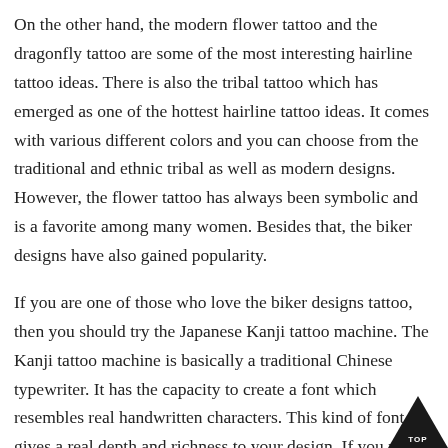On the other hand, the modern flower tattoo and the dragonfly tattoo are some of the most interesting hairline tattoo ideas. There is also the tribal tattoo which has emerged as one of the hottest hairline tattoo ideas. It comes with various different colors and you can choose from the traditional and ethnic tribal as well as modern designs. However, the flower tattoo has always been symbolic and is a favorite among many women. Besides that, the biker designs have also gained popularity.
If you are one of those who love the biker designs tattoo, then you should try the Japanese Kanji tattoo machine. The Kanji tattoo machine is basically a traditional Chinese typewriter. It has the capacity to create a font which resembles real handwritten characters. This kind of font gives a real depth and richness to your design. If you want to print out the Kanji tattoo designs tattoo ideas pictures,